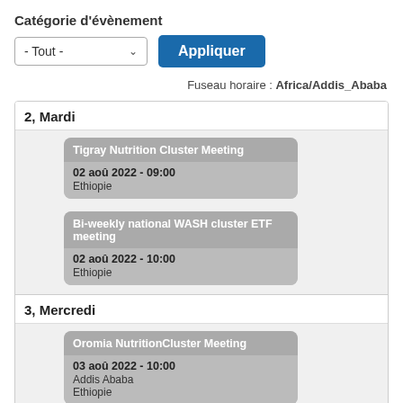Catégorie d'évènement
[Figure (screenshot): Dropdown filter with '- Tout -' option and an 'Appliquer' button]
Fuseau horaire : Africa/Addis_Ababa
2, Mardi
Tigray Nutrition Cluster Meeting
02 aoû 2022 - 09:00
Ethiopie
Bi-weekly national WASH cluster ETF meeting
02 aoû 2022 - 10:00
Ethiopie
3, Mercredi
Oromia NutritionCluster Meeting
03 aoû 2022 - 10:00
Addis Ababa
Ethiopie